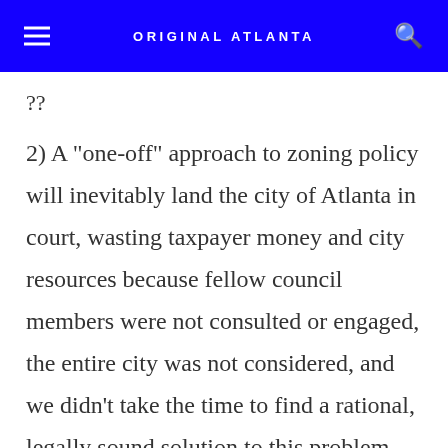ORIGINAL ATLANTA
??
2) A "one-off" approach to zoning policy will inevitably land the city of Atlanta in court, wasting taxpayer money and city resources because fellow council members were not consulted or engaged, the entire city was not considered, and we didn't take the time to find a rational, legally sound solution to this problem. As elected officials, we must be responsible